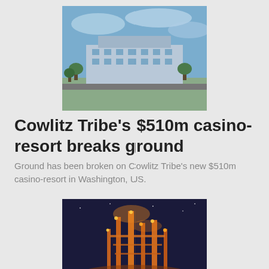[Figure (photo): Aerial/exterior view of a large casino-resort building complex with blue sky]
Cowlitz Tribe’s $510m casino-resort breaks ground
Ground has been broken on Cowlitz Tribe's new $510m casino-resort in Washington, US.
[Figure (photo): Industrial plant with illuminated metal structures at night, orange/gold lighting]
Shell breaks ground on $717m alpha olefins plant in Louisiana